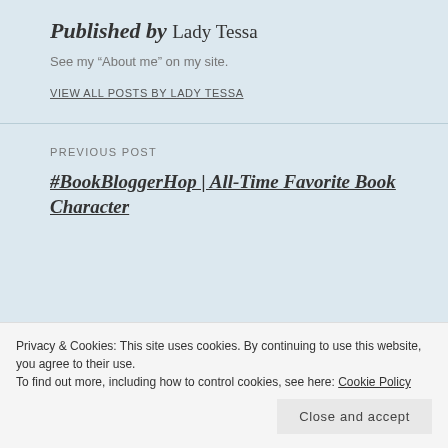Published by Lady Tessa
See my “About me” on my site.
VIEW ALL POSTS BY LADY TESSA
PREVIOUS POST
#BookBloggerHop | All-Time Favorite Book Character
Privacy & Cookies: This site uses cookies. By continuing to use this website, you agree to their use.
To find out more, including how to control cookies, see here: Cookie Policy
Close and accept
Lee Howe